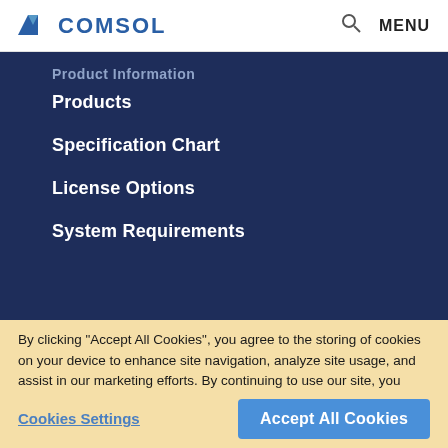COMSOL — MENU
Product Information
Products
Specification Chart
License Options
System Requirements
By clicking “Accept All Cookies”, you agree to the storing of cookies on your device to enhance site navigation, analyze site usage, and assist in our marketing efforts. By continuing to use our site, you agree to our use of cookies.
Cookies Settings
Accept All Cookies